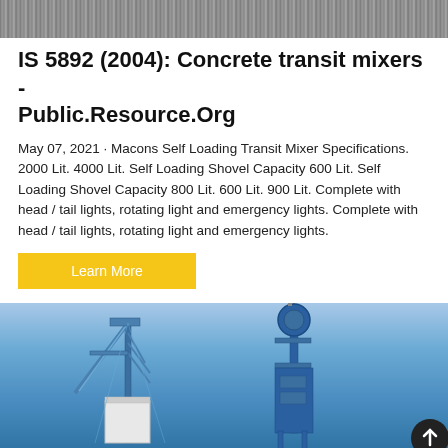[Figure (photo): Grainy dark textured background image at top of page]
IS 5892 (2004): Concrete transit mixers - Public.Resource.Org
May 07, 2021 · Macons Self Loading Transit Mixer Specifications. 2000 Lit. 4000 Lit. Self Loading Shovel Capacity 600 Lit. Self Loading Shovel Capacity 800 Lit. 600 Lit. 900 Lit. Complete with head / tail lights, rotating light and emergency lights. Complete with head / tail lights, rotating light and emergency lights.
[Figure (other): Yellow 'Learn More' button]
[Figure (photo): Photo of blue industrial concrete mixing or batching plant equipment against a blue sky background]